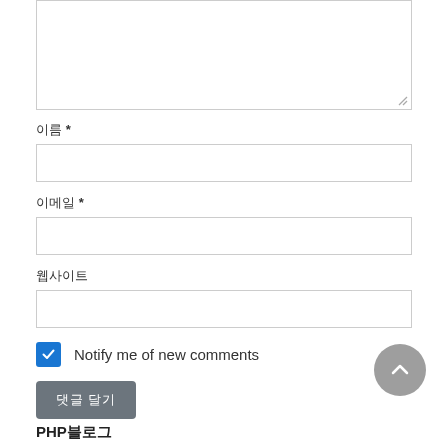[Figure (screenshot): Textarea input box at the top of the page, partially visible, with a resize handle at the bottom right corner.]
이름 *
[Figure (screenshot): Text input field for 이름 (name), empty, bordered box.]
이메일 *
[Figure (screenshot): Text input field for 이메일 (email), empty, bordered box.]
웹사이트
[Figure (screenshot): Text input field for 웹사이트 (website), empty, bordered box.]
Notify me of new comments
[Figure (screenshot): Submit button labeled with Korean characters (댓글 달기 / 댓글 작성 등), dark gray rounded rectangle.]
PHP블로그